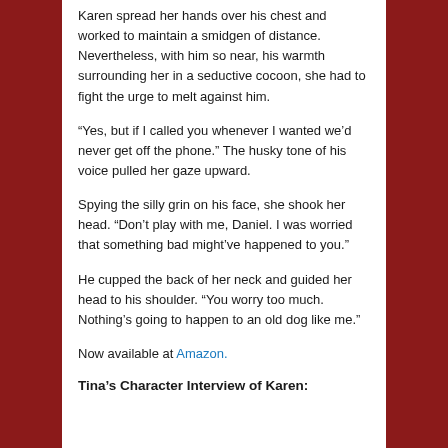Karen spread her hands over his chest and worked to maintain a smidgen of distance. Nevertheless, with him so near, his warmth surrounding her in a seductive cocoon, she had to fight the urge to melt against him.
“Yes, but if I called you whenever I wanted we’d never get off the phone.” The husky tone of his voice pulled her gaze upward.
Spying the silly grin on his face, she shook her head. “Don’t play with me, Daniel. I was worried that something bad might’ve happened to you.”
He cupped the back of her neck and guided her head to his shoulder. “You worry too much. Nothing’s going to happen to an old dog like me.”
Now available at Amazon.
Tina’s Character Interview of Karen: